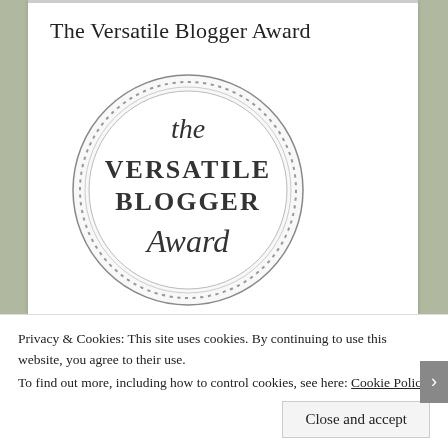The Versatile Blogger Award
[Figure (logo): The Versatile Blogger Award badge — a circular seal with dotted/beaded border, script text 'the' at top, bold serif 'VERSATILE BLOGGER' in the middle, and script 'Award' at the bottom]
December 9, 2015
Privacy & Cookies: This site uses cookies. By continuing to use this website, you agree to their use.
To find out more, including how to control cookies, see here: Cookie Policy
Close and accept